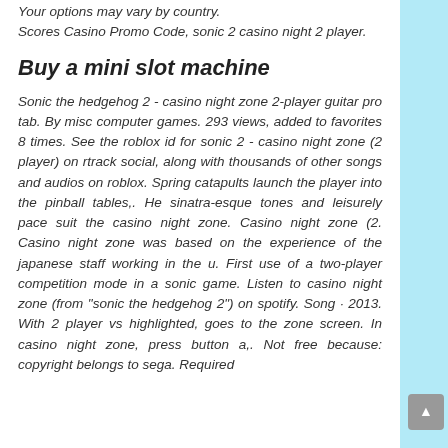Your options may vary by country. Scores Casino Promo Code, sonic 2 casino night 2 player.
Buy a mini slot machine
Sonic the hedgehog 2 - casino night zone 2-player guitar pro tab. By misc computer games. 293 views, added to favorites 8 times. See the roblox id for sonic 2 - casino night zone (2 player) on rtrack social, along with thousands of other songs and audios on roblox. Spring catapults launch the player into the pinball tables,. He sinatra-esque tones and leisurely pace suit the casino night zone. Casino night zone (2. Casino night zone was based on the experience of the japanese staff working in the u. First use of a two-player competition mode in a sonic game. Listen to casino night zone (from "sonic the hedgehog 2") on spotify. Song · 2013. With 2 player vs highlighted, goes to the zone screen. In casino night zone, press button a,. Not free because: copyright belongs to sega. Required